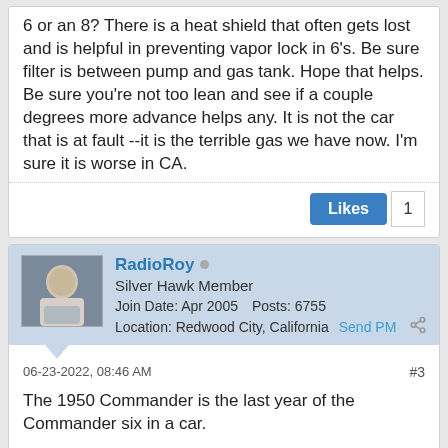6 or an 8? There is a heat shield that often gets lost and is helpful in preventing vapor lock in 6's. Be sure filter is between pump and gas tank. Hope that helps. Be sure you're not too lean and see if a couple degrees more advance helps any. It is not the car that is at fault --it is the terrible gas we have now. I'm sure it is worse in CA.
Likes 1
RadioRoy • Silver Hawk Member Join Date: Apr 2005 Posts: 6755 Location: Redwood City, California Send PM
06-23-2022, 08:46 AM #3
The 1950 Commander is the last year of the Commander six in a car.
There are two heat shields on a 1950 Commander.